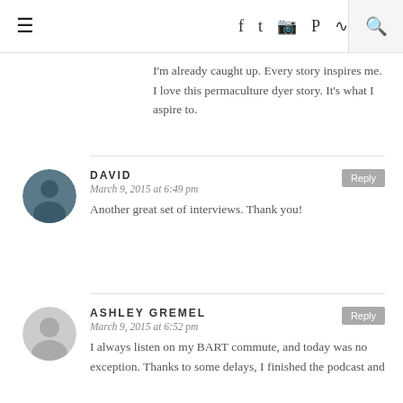≡ [nav icons: facebook, twitter, instagram, pinterest, rss] [search]
I'm already caught up. Every story inspires me. I love this permaculture dyer story. It's what I aspire to.
DAVID
March 9, 2015 at 6:49 pm
Another great set of interviews. Thank you!
ASHLEY GREMEL
March 9, 2015 at 6:52 pm
I always listen on my BART commute, and today was no exception. Thanks to some delays, I finished the podcast and